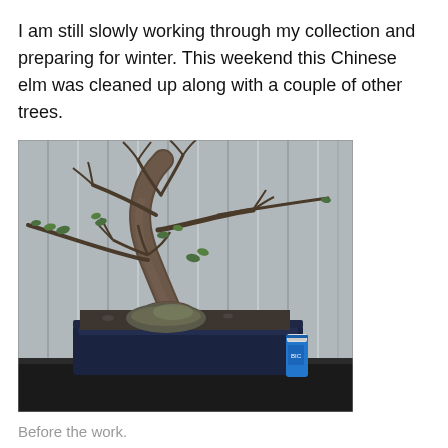I am still slowly working through my collection and preparing for winter. This weekend this Chinese elm was cleaned up along with a couple of other trees.
[Figure (photo): A Chinese elm bonsai tree in a dark blue rectangular pot, photographed before styling work. The tree has a thick, curved trunk with sparse foliage and some green leaves. A blue lighter is visible to the right of the pot for scale. The tree sits on a dark surface with a corrugated metal background.]
Before the work.
The tree I worked on had recently undergone a re-style. Upon re-potting last year I also decided to change front slightly. This required a bit of pruning. As I began to prune